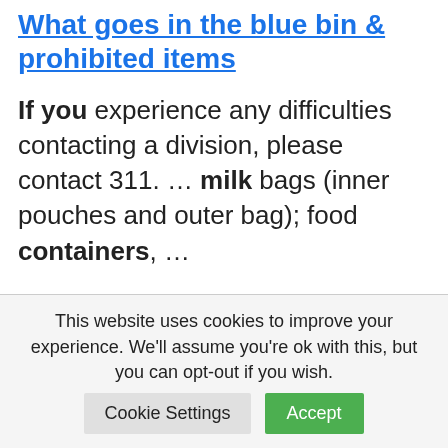What goes in the blue bin & prohibited items
If you experience any difficulties contacting a division, please contact 311. … milk bags (inner pouches and outer bag); food containers, …
Making compost with cardboard – Rolypig
8 Oct 2019 … Are Amazon boxes compostable? Can you compost
This website uses cookies to improve your experience. We'll assume you're ok with this, but you can opt-out if you wish.